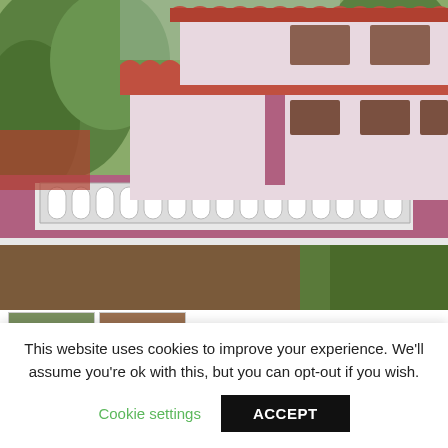[Figure (photo): Exterior view of a two-story residential house with terracotta tiled roof, white and purple/mauve painted walls, decorative lattice railing fence, surrounded by trees and dirt ground]
[Figure (photo): Thumbnail 1: side view of house exterior with red tiled roof]
[Figure (photo): Thumbnail 2: dirt/land area view]
This website uses cookies to improve your experience. We'll assume you're ok with this, but you can opt-out if you wish.
Cookie settings
ACCEPT